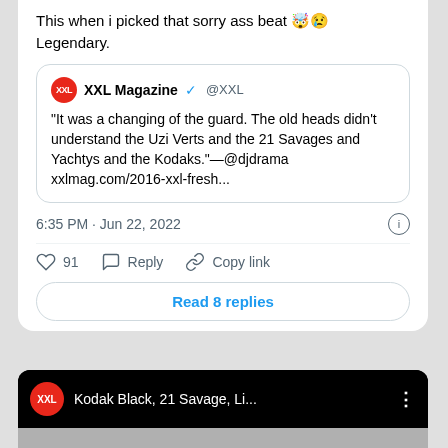This when i picked that sorry ass beat 🤯😢 Legendary.
"It was a changing of the guard. The old heads didn't understand the Uzi Verts and the 21 Savages and Yachtys and the Kodaks."—@djdrama xxlmag.com/2016-xxl-fresh...
6:35 PM · Jun 22, 2022
91  Reply  Copy link
Read 8 replies
[Figure (screenshot): XXL Magazine video card showing 'Kodak Black, 21 Savage, Li...' with XXL red logo on black background]